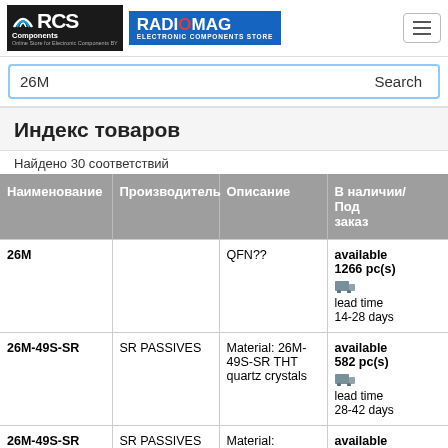[Figure (logo): RCS Components logo — black background with signal/wifi arcs and text 'RCS Components, Online Store for Electronic Components BY']
[Figure (logo): RADIOMAG Electronic Components Store logo — blue background with red 'O' in RADIOMAG]
26М
Search
Индекс товаров
Найдено 30 соответствий
| Наименование | Производитель | Описание | В наличии/Под заказ |
| --- | --- | --- | --- |
| 26M |  | QFN?? | available 1266 pc(s)
lead time 14-28 days |
| 26M-49S-SR | SR PASSIVES | Material: 26M-49S-SR THT quartz crystals | available 582 pc(s)
lead time 28-42 days |
| 26M-49S-SR | SR PASSIVES | Material: 26M-49S-SR | available 582 pc(s) |